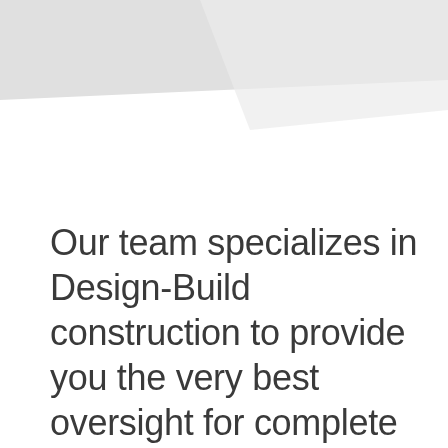[Figure (illustration): Abstract decorative geometric shape in light grey tones at the top of the page, resembling overlapping curved/angular panels]
Our team specializes in Design-Build construction to provide you the very best oversight for complete Design and Build project delivery.